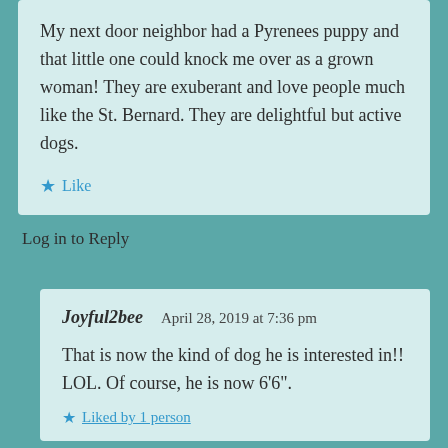My next door neighbor had a Pyrenees puppy and that little one could knock me over as a grown woman! They are exuberant and love people much like the St. Bernard. They are delightful but active dogs.
Like
Log in to Reply
Joyful2bee   April 28, 2019 at 7:36 pm
That is now the kind of dog he is interested in!! LOL. Of course, he is now 6'6".
Liked by 1 person